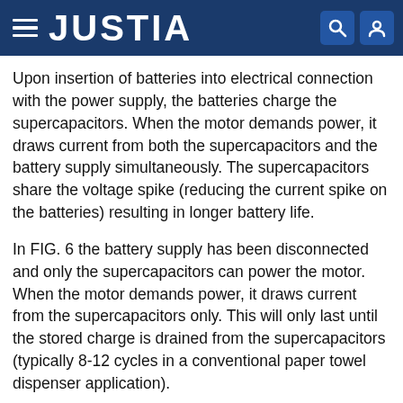JUSTIA
Upon insertion of batteries into electrical connection with the power supply, the batteries charge the supercapacitors. When the motor demands power, it draws current from both the supercapacitors and the battery supply simultaneously. The supercapacitors share the voltage spike (reducing the current spike on the batteries) resulting in longer battery life.
In FIG. 6 the battery supply has been disconnected and only the supercapacitors can power the motor. When the motor demands power, it draws current from the supercapacitors only. This will only last until the stored charge is drained from the supercapacitors (typically 8-12 cycles in a conventional paper towel dispenser application).
FIG. 2 is a diagram illustrating circuit drain without